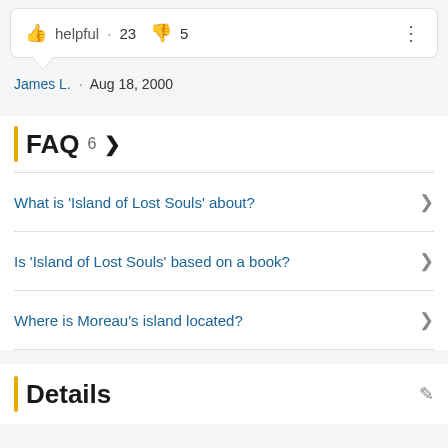helpful · 23  5
James L. · Aug 18, 2000
FAQ  6 >
What is 'Island of Lost Souls' about?
Is 'Island of Lost Souls' based on a book?
Where is Moreau's island located?
Details